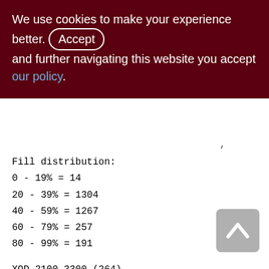We use cookies to make your experience better. By accepting and further navigating this website you accept our policy.
Fill distribution:
0 - 19% = 14
20 - 39% = 1304
40 - 59% = 1267
60 - 79% = 257
80 - 99% = 191
XQD_2100_3300 (264)
Primary pointer page: 738, Index root page: 739
Total formats: 1, used formats: 1
Average record length: 6.35, total records: